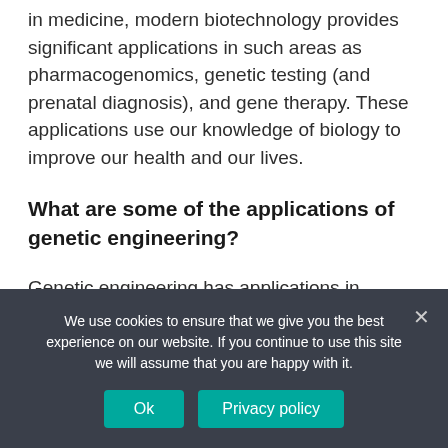in medicine, modern biotechnology provides significant applications in such areas as pharmacogenomics, genetic testing (and prenatal diagnosis), and gene therapy. These applications use our knowledge of biology to improve our health and our lives.
What are some of the applications of genetic engineering?
Genetic engineering has applications in medicine, research, industry and agriculture and can be used
We use cookies to ensure that we give you the best experience on our website. If you continue to use this site we will assume that you are happy with it.